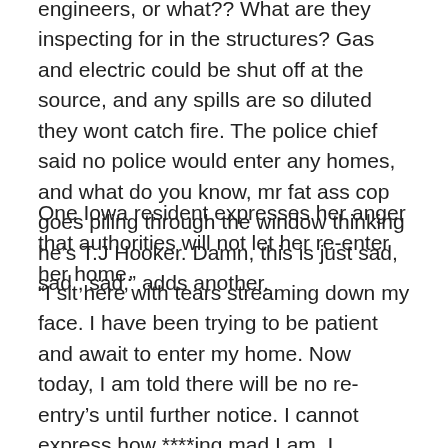So those cops and fire fighters are part time structural engineers, or what?? What are they inspecting for in the structures? Gas and electric could be shut off at the source, and any spills are so diluted they wont catch fire. The police chief said no police would enter any homes, and what do you know, mr fat ass cop goes piling through the window thinking he's T.J Hooker. Damn, this is just sad, sad , sad,” adds another.
One Iowa resident expresses her anger that authorities will not let her re-enter her home.
“I sit here with tears streaming down my face. I have been trying to be patient and await to enter my home. Now today, I am told there will be no re-entry’s until further notice. I cannot express how ****ing mad I am. I understand the houses can be unsafe. Just let me at least see my house, so that I can assess if it hit my top floor. I